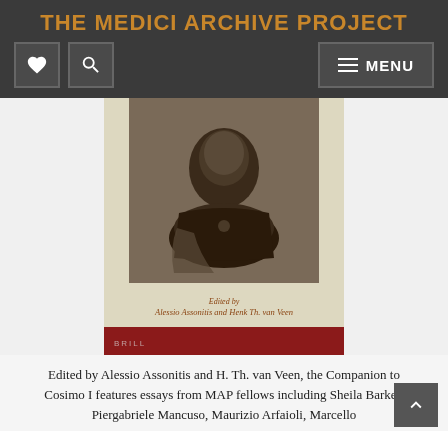THE MEDICI ARCHIVE PROJECT
[Figure (screenshot): Website navigation bar with heart icon, search icon, and MENU button on dark background]
[Figure (photo): Book cover showing a bronze bust sculpture, edited by Alessio Assonitis and Henk Th. van Veen, published by Brill]
Edited by Alessio Assonitis and H. Th. van Veen, the Companion to Cosimo I features essays from MAP fellows including Sheila Barker, Piergabriele Mancuso, Maurizio Arfaioli, Marcello